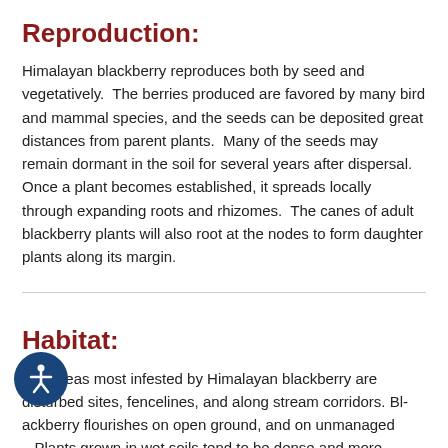Reproduction:
Himalayan blackberry reproduces both by seed and vegetatively.  The berries produced are favored by many bird and mammal species, and the seeds can be deposited great distances from parent plants.  Many of the seeds may remain dormant in the soil for several years after dispersal.  Once a plant becomes established, it spreads locally through expanding roots and rhizomes.  The canes of adult blackberry plants will also root at the nodes to form daughter plants along its margin.
Habitat:
The areas most infested by Himalayan blackberry are disturbed sites, fencelines, and along stream corridors. Blackberry flourishes on open ground, and on unmanaged areas. Plants grown in wet soils tend to be dense and more robust.  Due to the movement by birds, Himalayan blackberry